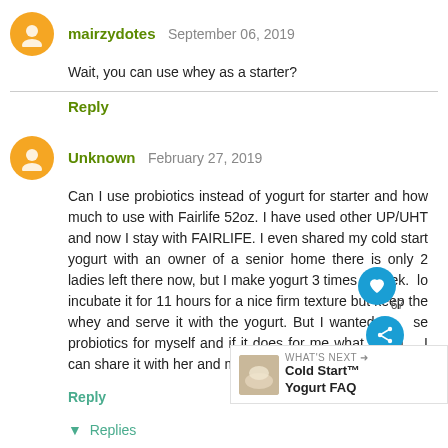mairzydotes  September 06, 2019
Wait, you can use whey as a starter?
Reply
Unknown  February 27, 2019
Can I use probiotics instead of yogurt for starter and how much to use with Fairlife 52oz. I have used other UP/UHT and now I stay with FAIRLIFE. I even shared my cold start yogurt with an owner of a senior home there is only 2 ladies left there now, but I make yogurt 3 times a week. lo incubate it for 11 hours for a nice firm texture but keep the whey and serve it with the yogurt. But I wanted t se probiotics for myself and if it does for me what I wan I can share it with her and my elderly friends in her home.
Reply
▼  Replies